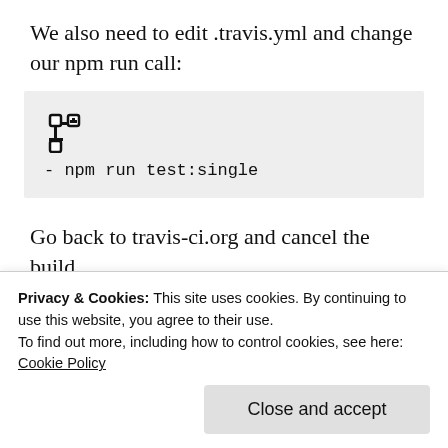We also need to edit .travis.yml and change our npm run call:
[Figure (screenshot): Code block showing a git branch icon followed by the line: - npm run test:single]
Go back to travis-ci.org and cancel the build.
Let’s try that again in your console:
Privacy & Cookies: This site uses cookies. By continuing to use this website, you agree to their use.
To find out more, including how to control cookies, see here: Cookie Policy
Close and accept